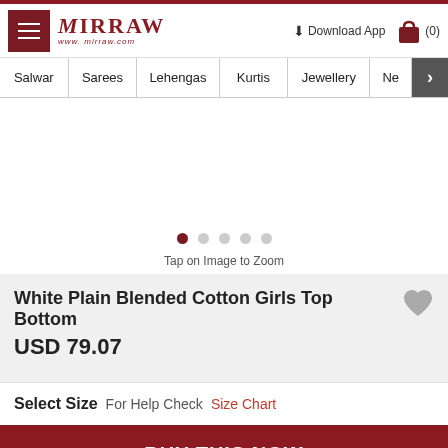Mirraw - www.mirraw.com
Salwar | Sarees | Lehengas | Kurtis | Jewellery | Ne >
[Figure (photo): Product image carousel area with 5 dot indicators, first dot active (dark red), rest light grey. Text below: Tap on Image to Zoom]
Tap on Image to Zoom
White Plain Blended Cotton Girls Top Bottom
USD 79.07
Select Size  For Help Check  Size Chart
BUY THIS NOW